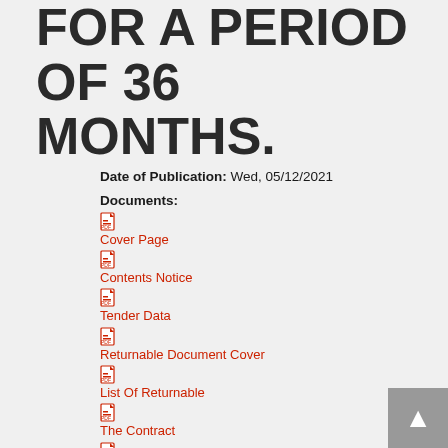FOR A PERIOD OF 36 MONTHS.
Date of Publication: Wed, 05/12/2021
Documents:
Cover Page
Contents Notice
Tender Data
Returnable Document Cover
List Of Returnable
The Contract
Form Of Offer And Acceptance
Contract Data